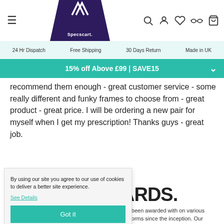Specscart navigation bar with hamburger menu, logo, and icons (search, account, wishlist, glasses, cart)
24 Hr Dispatch | Free Shipping | 30 Days Return | Made in UK
15% off Above £99 | SAVE15
recommend them enough - great customer service - some really different and funky frames to choose from - great product - great price. I will be ordering a new pair for myself when I get my prescription! Thanks guys - great job.
By using our site you agree to our use of cookies to deliver a better site experience.
See Details
Got it
ARDS.
has been awarded with on various platforms since the inception. Our journey started with the Albert Gubay Award in